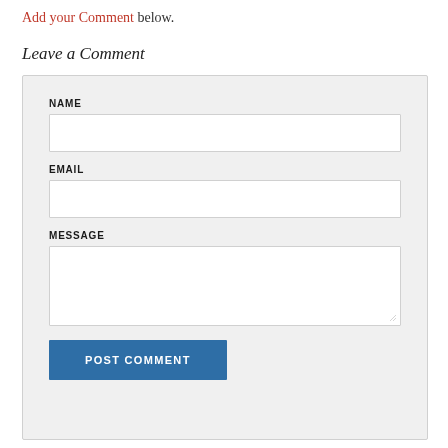Add your Comment below.
Leave a Comment
NAME
EMAIL
MESSAGE
POST COMMENT